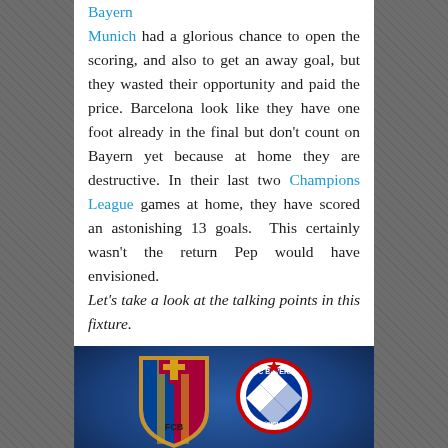Bayern Munich had a glorious chance to open the scoring, and also to get an away goal, but they wasted their opportunity and paid the price. Barcelona look like they have one foot already in the final but don't count on Bayern yet because at home they are destructive. In their last two Champions League games at home, they have scored an astonishing 13 goals. This certainly wasn't the return Pep would have envisioned.
Let's take a look at the talking points in this fixture.
[Figure (photo): FC Barcelona and FC Bayern Munich club badges/crests displayed side by side on a blue background]